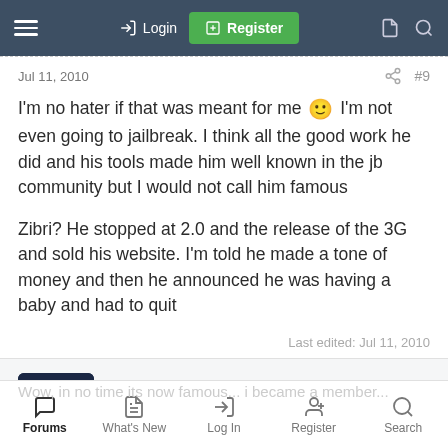Login | Register
Jul 11, 2010 #9
I'm no hater if that was meant for me 🙂 I'm not even going to jailbreak. I think all the good work he did and his tools made him well known in the jb community but I would not call him famous

Zibri? He stopped at 2.0 and the release of the 3G and sold his website. I'm told he made a tone of money and then he announced he was having a baby and had to quit
Last edited: Jul 11, 2010
iPadOne
New Member
Forums | What's New | Log In | Register | Search